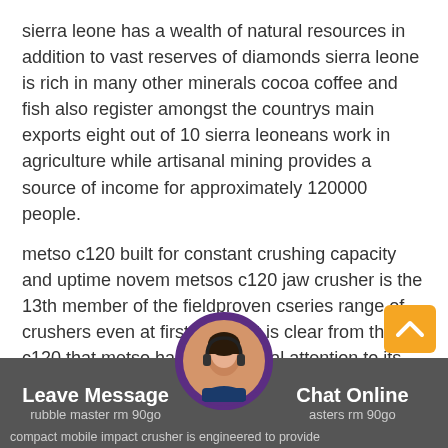sierra leone has a wealth of natural resources in addition to vast reserves of diamonds sierra leone is rich in many other minerals cocoa coffee and fish also register amongst the countrys main exports eight out of 10 sierra leoneans work in agriculture while artisanal mining provides a source of income for approximately 120000 people.
metso c120 built for constant crushing capacity and uptime novem metsos c120 jaw crusher is the 13th member of the fieldproven cseries range of crushers even at first glance it is clear from the c120 that metso has paid special attention to its new durable and userfriendly design which begins with the casting the design.
rubble master rm 90go  asters rm 90go  compact mobile impact crusher is engineered to provide  Leave Message  Chat Online